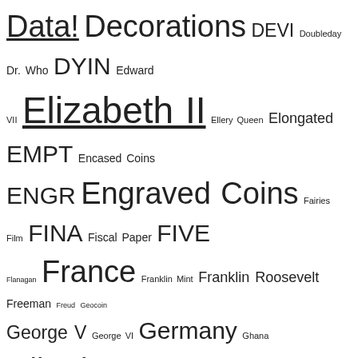Tag cloud containing: Data! Decorations DEVI Doubleday Dr. Who DYIN Edward VII Elizabeth II Ellery Queen Elongated EMPT Encased Coins ENGR Engraved Coins Fairies Film FINA Fiscal Paper FIVE Flanagan France Franklin Mint Franklin Roosevelt Freeman Freud Geocoin George V George VI Germany Ghana Gibraltar Gift Card Gillette GLOR GOLD GREE Gregory Hood Gregson Hans Sloane Hector Hemlock Holmes Hobbit HolmeWork Houdini HOUN Howard Elcock Huston IDEN ILLU India Ingot Inquisition Ireland Irene Adler Italy Japan Jeremy Brett Jude Law Kingsley LADY LAST Lestrade LION Lost World Louis Hector Malaysia Mardi Gras Marika Somogyi Mary Celeste Max Carrados MAZA McKellan Medal Mendelssohn Mickey Mouse Miscellaneous MISS Moore Moran Moriarty Movies MUSG NAVA NCLT Netherlands Newnes Newspapers New Zealand Nicaragua Nigel Bruce Niue NOBL NORW NYPD Olympics Orders Organizational Orson Welles Paper Money Parody Pastiche Phone Card Play Money PNC Pobjoy Mint Poe Poker Chip Poland Pope Leo XIII PRIO Punitentiary Radio Rampling REDC REDH REIG RESI RETI Russia Sarasate SCAN Scrip Sherlock Holmes SIGN